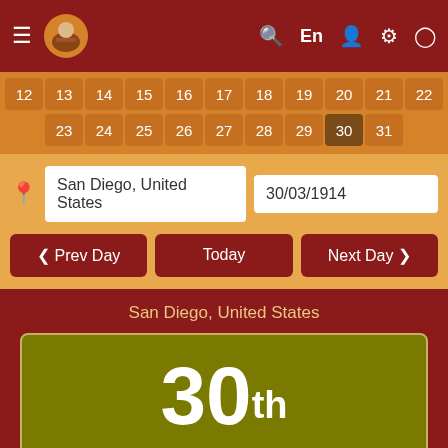[Figure (screenshot): Mobile app navigation bar with hamburger menu, logo icon, search, language (En), user, settings, and clock icons on dark red background]
[Figure (screenshot): Calendar row showing dates 12-22 and 23-31 on orange-brown background, with date 30 highlighted/selected]
San Diego, United States
30/03/1914
❮ Prev Day
Today
Next Day ❯
San Diego, United States
30th March 1914 Monday / सोमवार